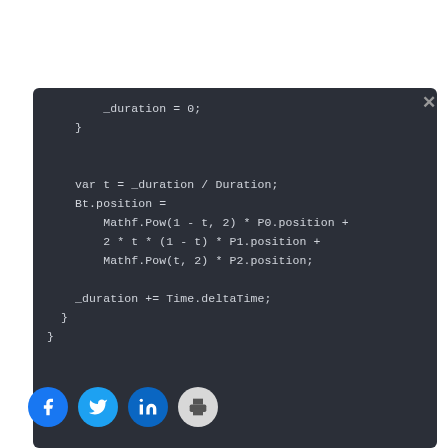[Figure (screenshot): Dark-themed code editor screenshot showing C# code for a Bezier curve animation. Code includes: _duration = 0; closing brace, var t = _duration / Duration;, Bt.position = Mathf.Pow(1 - t, 2) * P0.position + 2 * t * (1 - t) * P1.position + Mathf.Pow(t, 2) * P2.position;, _duration += Time.deltaTime;, and two closing braces. A close (X) button is visible in the top-right.]
□□□□□
[Figure (infographic): Social share buttons: Facebook (blue circle), Twitter (blue circle), LinkedIn (blue circle), Print (gray circle)]